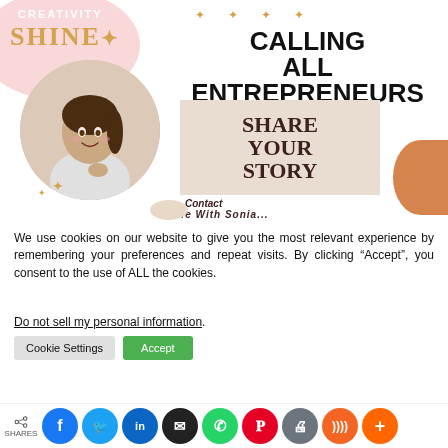[Figure (infographic): Promotional banner with 'CALLING ALL ENTREPRENEURS' heading, 'SHARE YOUR STORY' box, circular photo of a woman, pink blob decoration, gold shine text, sparkle decorations, orange blob, Contact Life With Sonia text at bottom]
We use cookies on our website to give you the most relevant experience by remembering your preferences and repeat visits. By clicking “Accept”, you consent to the use of ALL the cookies.
Do not sell my personal information.
Cookie Settings   Accept
SHARES  [social share buttons: Facebook, Twitter, LinkedIn, Email, WhatsApp, Pinterest, Print, RSS, Plus]